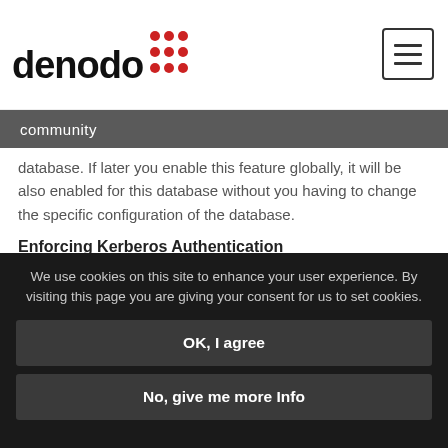denodo community
database. If later you enable this feature globally, it will be also enabled for this database without you having to change the specific configuration of the database.
Enforcing Kerberos Authentication
Regarding applications that use the Denodo ODBC driver to connect to Virtual DataPort:
By default, these applications can choose to use Kerberos authentication or user/password. It is up to how the users configure the connection.
We use cookies on this site to enhance your user experience. By visiting this page you are giving your consent for us to set cookies.
OK, I agree
No, give me more Info